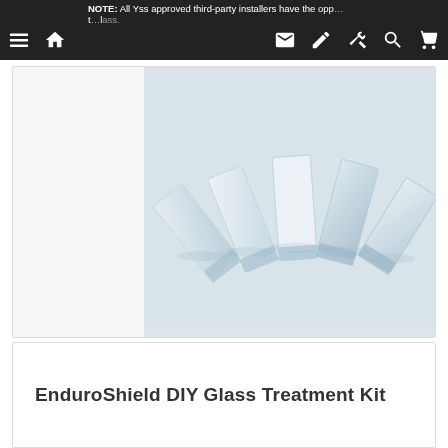NOTE: All Yss approved third-party installers have the opportunity to purchase the Yss installer class.
[Figure (photo): Photo of five frosted glass treatment applicator pads arranged in a fan/arc pattern on a light blue-grey background. The pads are rectangular, translucent white/frosted glass pieces.]
EnduroShield DIY Glass Treatment Kit